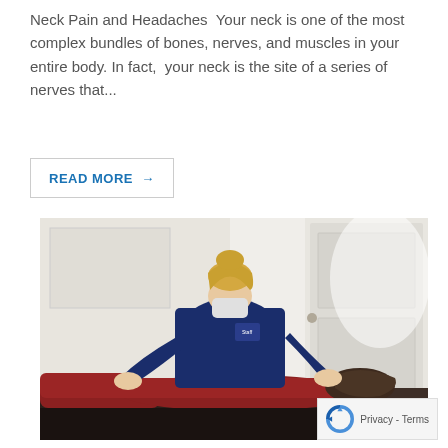Neck Pain and Headaches  Your neck is one of the most complex bundles of bones, nerves, and muscles in your entire body. In fact,  your neck is the site of a series of nerves that...
READ MORE →
[Figure (photo): A healthcare provider in a navy blue shirt and mask performing chiropractic or physical therapy treatment on a patient lying face-down on a treatment table. The setting appears to be a clinical room with a white door in the background.]